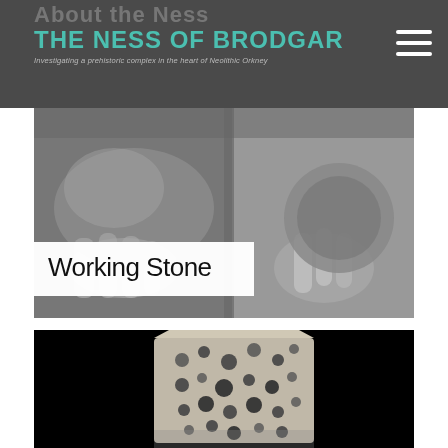About the Ness
THE NESS OF BRODGAR
Investigating a prehistoric complex in the heart of Neolithic Orkney
[Figure (photo): Black and white photo of hands working with stone artifacts]
Working Stone
[Figure (photo): Black and white close-up photo of a pitted stone block with holes against black background]